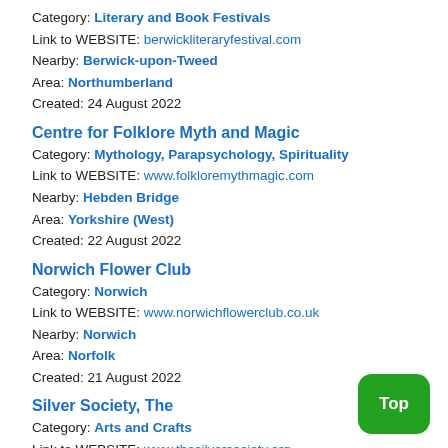Category: Literary and Book Festivals
Link to WEBSITE: berwickliteraryfestival.com
Nearby: Berwick-upon-Tweed
Area: Northumberland
Created: 24 August 2022
Centre for Folklore Myth and Magic
Category: Mythology, Parapsychology, Spirituality
Link to WEBSITE: www.folkloremythmagic.com
Nearby: Hebden Bridge
Area: Yorkshire (West)
Created: 22 August 2022
Norwich Flower Club
Category: Norwich
Link to WEBSITE: www.norwichflowerclub.co.uk
Nearby: Norwich
Area: Norfolk
Created: 21 August 2022
Silver Society, The
Category: Arts and Crafts
Link to WEBSITE: www.thesilversociety.org
Created: 21 August 2022
Ridware History Society
Category: Cannock